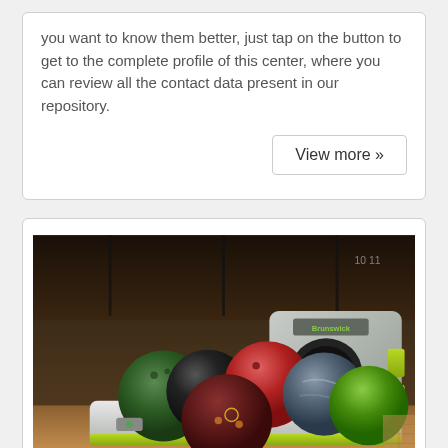you want to know them better, just tap on the button to get to the complete profile of this center, where you can review all the contact data present in our repository.
View more »
[Figure (photo): Photo of bowling balls in a ball return rack at a bowling alley. Multiple colored bowling balls (green, black, red/maroon, dark maroon, blue/marble, green) sit in a white and lime-green ball return unit branded Brunswick. The background shows the darkened lanes of a bowling alley.]